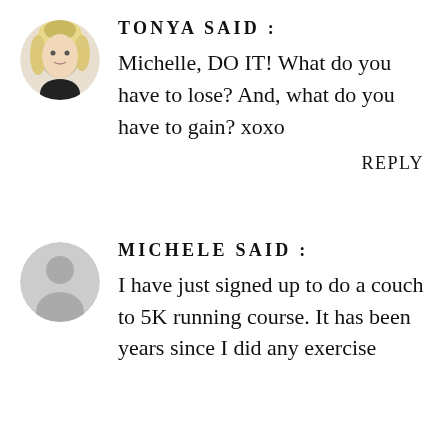TONYA SAID :
Michelle, DO IT! What do you have to lose? And, what do you have to gain? xoxo
REPLY
MICHELE SAID :
I have just signed up to do a couch to 5K running course. It has been years since I did any exercise